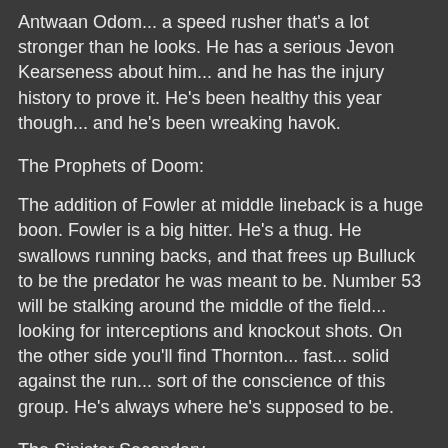Antwaan Odom... a speed rusher that's a lot stronger than he looks. He has a serious Jevon Kearseness about him... and he has the injury history to prove it. He's been healthy this year though... and he's been wreaking havok.
The Prophets of Doom:
The addition of Fowler at middle lineback is a huge boon. Fowler is a big hitter. He's a thug. He swallows running backs, and that frees up Bulluck to be the predator he was meant to be. Number 53 will be stalking around the middle of the field... looking for interceptions and knockout shots. On the other side you'll find Thornton... fast... solid against the run... sort of the conscience of this group. He's always where he's supposed to be.
The Sinister Secondary
Two new corners this year solidify this group. Harper and Finnegan will be the names you'll see most of the night. 1st round pick Micheal Griffin will show up as well. In the nickle Vinny Fuller comes in. Fuller is someone to keep an eye on